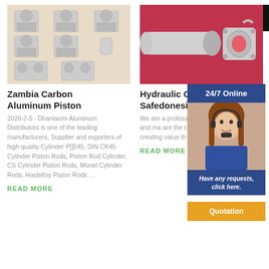[Figure (photo): Multiple aluminum piston cylinder block parts arranged on a beige/cream background]
[Figure (photo): Hydraulic cylinder tube and end cap parts on a red/pink background]
[Figure (other): Menu icon (hamburger) black background with red lines]
Zambia Carbon Aluminum Piston
Hydraulic Cy Safedonesia
[Figure (other): 24/7 Online banner in dark blue]
[Figure (photo): Customer service woman with headset smiling]
[Figure (other): Have any requests, click here. dark blue box]
[Figure (other): Quotation button in orange]
2020-2-5 · Dhanlaxmi Aluminum Distributors is one of the leading manufacturers, Supplier and exporters of high quality Cylinder P[]045, DIN CK45 Cylinder Piston Rods, Piston Rod Cylinder, CS Cylinder Piston Rods, Monel Cylinder Rods, Hastelloy Piston Rods …
We are a profess cylinder tube&ro supplier and ma are the customer the HYDRAULIC creating value th
READ MORE
READ MORE